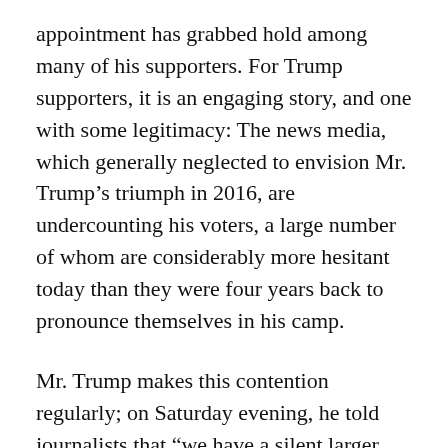appointment has grabbed hold among many of his supporters. For Trump supporters, it is an engaging story, and one with some legitimacy: The news media, which generally neglected to envision Mr. Trump's triumph in 2016, are undercounting his voters, a large number of whom are considerably more hesitant today than they were four years back to pronounce themselves in his camp.
Mr. Trump makes this contention regularly; on Saturday evening, he told journalists that “we have a silent larger part any semblance of which no one has seen.” One of his surveyors, John McLaughlin, has even named this alleged blemish in the information, foreseeing that the “hidden Trump voter” will refute the news media.